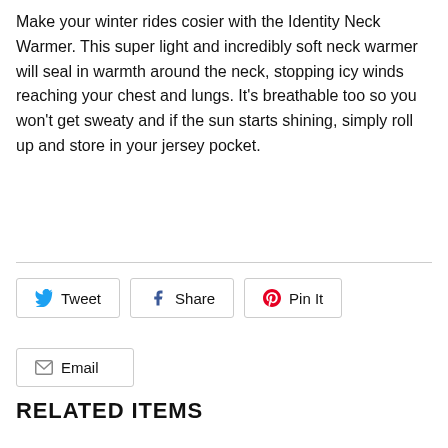Make your winter rides cosier with the Identity Neck Warmer. This super light and incredibly soft neck warmer will seal in warmth around the neck, stopping icy winds reaching your chest and lungs. It's breathable too so you won't get sweaty and if the sun starts shining, simply roll up and store in your jersey pocket.
Tweet | Share | Pin It | Email
RELATED ITEMS